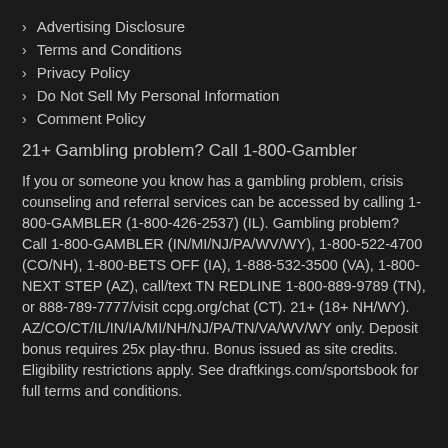Advertising Disclosure
Terms and Conditions
Privacy Policy
Do Not Sell My Personal Information
Comment Policy
21+ Gambling problem? Call 1-800-Gambler
If you or someone you know has a gambling problem, crisis counseling and referral services can be accessed by calling 1-800-GAMBLER (1-800-426-2537) (IL). Gambling problem? Call 1-800-GAMBLER (IN/MI/NJ/PA/WV/WY), 1-800-522-4700 (CO/NH), 1-800-BETS OFF (IA), 1-888-532-3500 (VA), 1-800-NEXT STEP (AZ), call/text TN REDLINE 1-800-889-9789 (TN), or 888-789-7777/visit ccpg.org/chat (CT). 21+ (18+ NH/WY). AZ/CO/CT/IL/IN/IA/MI/NH/NJ/PA/TN/VA/WV/WY only. Deposit bonus requires 25x play-thru. Bonus issued as site credits. Eligibility restrictions apply. See draftkings.com/sportsbook for full terms and conditions.